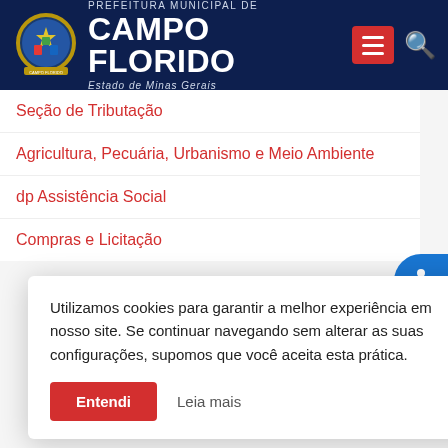[Figure (screenshot): Prefeitura Municipal de Campo Florido header with coat of arms logo, municipality name in white on dark navy background, red menu button, and search icon]
Seção de Tributação
Agricultura, Pecuária, Urbanismo e Meio Ambiente
dp Assistência Social
Compras e Licitação
Utilizamos cookies para garantir a melhor experiência em nosso site. Se continuar navegando sem alterar as suas configurações, supomos que você aceita esta prática.
Entendi   Leia mais
e Serviços
de Recursos Humanos